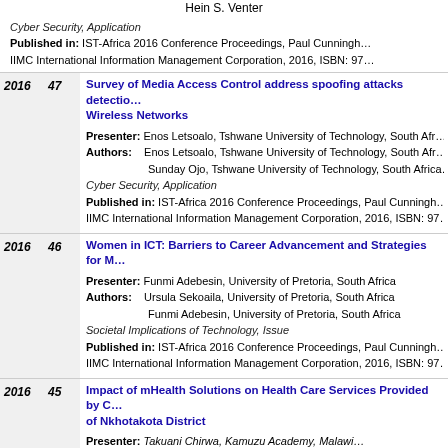Hein S. Venter
Cyber Security, Application
Published in: IST-Africa 2016 Conference Proceedings, Paul Cunningh…
IIMC International Information Management Corporation, 2016, ISBN: 97…
2016  47  Survey of Media Access Control address spoofing attacks detection in Wireless Networks
Presenter: Enos Letsoalo, Tshwane University of Technology, South Afr…
Authors: Enos Letsoalo, Tshwane University of Technology, South Afr…
Sunday Ojo, Tshwane University of Technology, South Africa…
Cyber Security, Application
Published in: IST-Africa 2016 Conference Proceedings, Paul Cunningh…
IIMC International Information Management Corporation, 2016, ISBN: 97…
2016  46  Women in ICT: Barriers to Career Advancement and Strategies for M…
Presenter: Funmi Adebesin, University of Pretoria, South Africa
Authors: Ursula Sekoaila, University of Pretoria, South Africa
Funmi Adebesin, University of Pretoria, South Africa
Societal Implications of Technology, Issue
Published in: IST-Africa 2016 Conference Proceedings, Paul Cunningh…
IIMC International Information Management Corporation, 2016, ISBN: 97…
2016  45  Impact of mHealth Solutions on Health Care Services Provided by C… of Nkhotakota District
Presenter: Takuani Chirwa, Kamuzu Academy, Malawi…